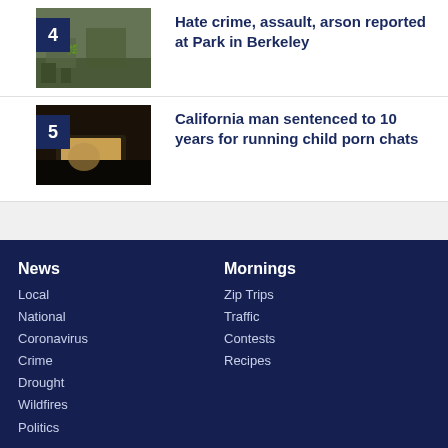[Figure (photo): Outdoor scene with graffiti and overgrown vegetation, park area]
Hate crime, assault, arson reported at Park in Berkeley
[Figure (photo): Person using a laptop in a dark setting]
California man sentenced to 10 years for running child porn chats
News
Local
National
Coronavirus
Crime
Drought
Wildfires
Politics
Mornings
Zip Trips
Traffic
Contests
Recipes